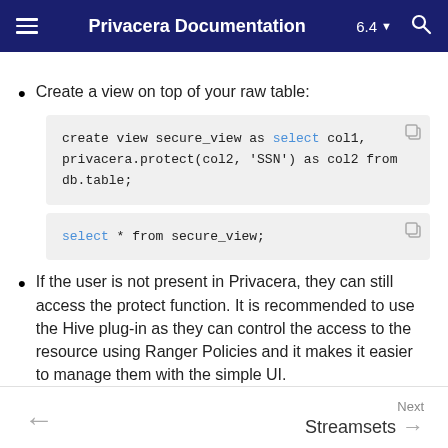Privacera Documentation 6.4
Create a view on top of your raw table:
[Figure (screenshot): Code block showing: create view secure_view as select col1, privacera.protect(col2, 'SSN') as col2 from db.table;]
[Figure (screenshot): Code block showing: select * from secure_view;]
If the user is not present in Privacera, they can still access the protect function. It is recommended to use the Hive plug-in as they can control the access to the resource using Ranger Policies and it makes it easier to manage them with the simple UI.
Next Streamsets →